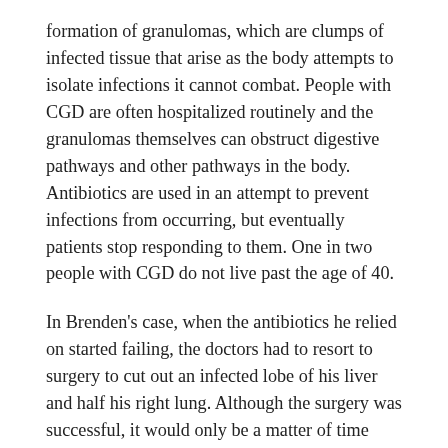formation of granulomas, which are clumps of infected tissue that arise as the body attempts to isolate infections it cannot combat. People with CGD are often hospitalized routinely and the granulomas themselves can obstruct digestive pathways and other pathways in the body. Antibiotics are used in an attempt to prevent infections from occurring, but eventually patients stop responding to them. One in two people with CGD do not live past the age of 40.
In Brenden's case, when the antibiotics he relied on started failing, the doctors had to resort to surgery to cut out an infected lobe of his liver and half his right lung. Although the surgery was successful, it would only be a matter of time before a vital organ was infected and surgery would no longer be an option.